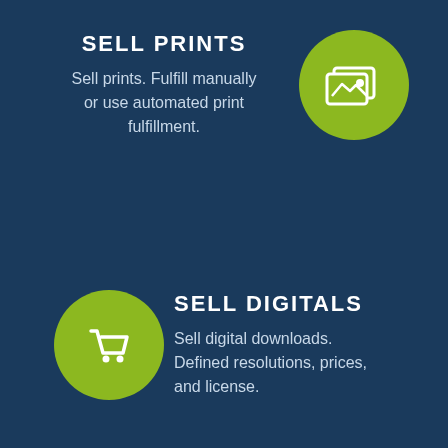SELL PRINTS
Sell prints. Fulfill manually or use automated print fulfillment.
[Figure (illustration): Green circle with white image/photo gallery icon]
SELL DIGITALS
Sell digital downloads. Defined resolutions, prices, and license.
[Figure (illustration): Green circle with white shopping cart icon]